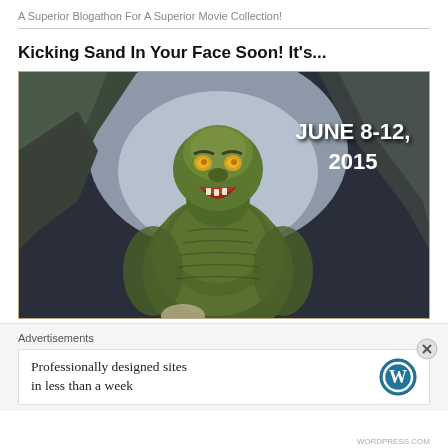A Superior Blogathon For A Superior Movie Collection!
Kicking Sand In Your Face Soon! It's...
[Figure (illustration): Vintage movie poster illustration of the Creature from the Black Lagoon (green reptilian humanoid monster) with text 'JUNE 8-12, 2015' in white bold letters on the right side. Dark rocky cave background with dramatic lighting.]
Advertisements
Professionally designed sites in less than a week